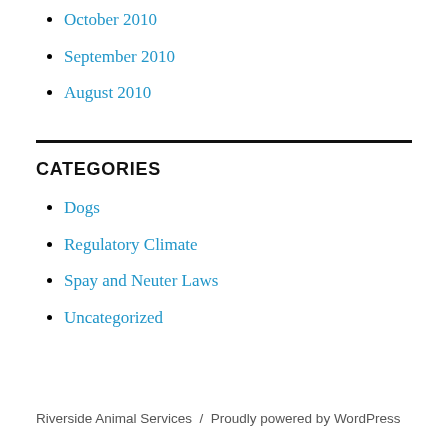October 2010
September 2010
August 2010
CATEGORIES
Dogs
Regulatory Climate
Spay and Neuter Laws
Uncategorized
Riverside Animal Services / Proudly powered by WordPress